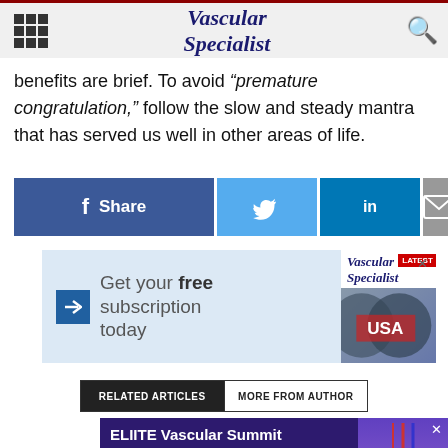Vascular Specialist
benefits are brief. To avoid “premature congratulation,” follow the slow and steady mantra that has served us well in other areas of life.
[Figure (infographic): Social media share buttons: Facebook Share, Twitter, LinkedIn, Email]
[Figure (infographic): Advertisement: Get your free subscription today - Vascular Specialist]
[Figure (infographic): Related Articles / More From Author tab bar]
[Figure (infographic): Philips advertisement: ELIITE Vascular Summit - Enhance your knowledge - Register now]